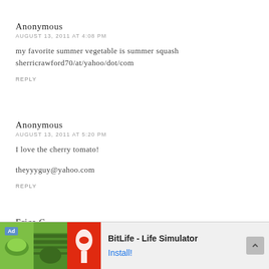Anonymous
AUGUST 13, 2011 AT 4:08 PM
my favorite summer vegetable is summer squash sherricrawford70/at/yahoo/dot/com
REPLY
Anonymous
AUGUST 13, 2011 AT 5:20 PM
I love the cherry tomato!
theyyyguy@yahoo.com
REPLY
Erica C.
AUGUST 13, 2011 AT 6:33 PM
Cucum...
[Figure (other): Ad banner for BitLife Life Simulator showing green vegetable images and red BitLife logo]